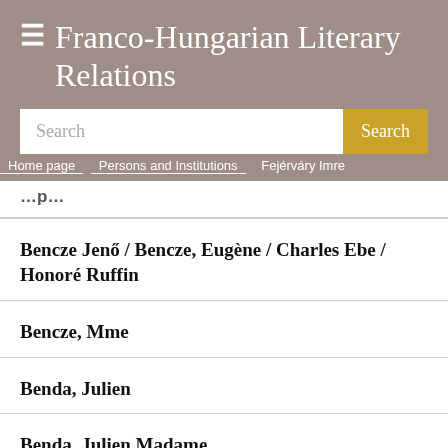≡ Franco-Hungarian Literary Relations
[Figure (screenshot): Search input box with golden Search button]
Home page / Persons and Institutions / Fejérváry Imre
Bencze Jenő / Bencze, Eugène / Charles Ebe / Honoré Ruffin
Bencze, Mme
Benda, Julien
Benda, Julien Madame